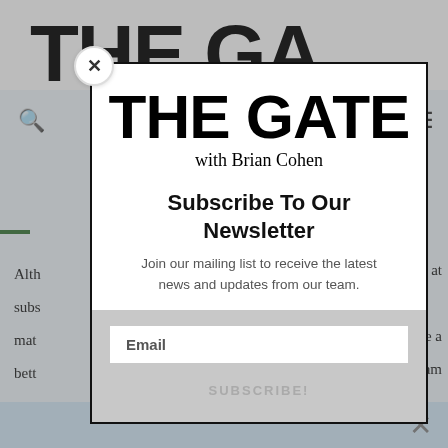[Figure (screenshot): Background webpage showing The Gate with Brian Cohen website, with search icon, hamburger menu, partial article text, and blue bottom strip]
[Figure (infographic): Modal popup with The Gate with Brian Cohen logo, newsletter subscription form with email input and SUBSCRIBE! button, and a close (×) button]
THE GATE
with Brian Cohen
Subscribe To Our Newsletter
Join our mailing list to receive the latest news and updates from our team.